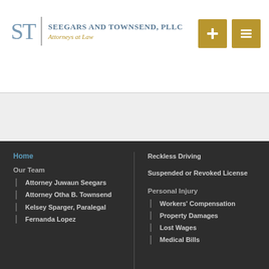[Figure (logo): Seegars and Townsend, PLLC law firm logo with 'ST' monogram in blue-gray, vertical divider, firm name in steel blue uppercase serif, tagline 'Attorneys at Law' in gold italic]
[Figure (other): Two gold navigation buttons: a plus/add icon and a menu/list icon]
Home
Our Team
Attorney Juwaun Seegars
Attorney Otha B. Townsend
Kelsey Sparger, Paralegal
Fernanda Lopez
Reckless Driving
Suspended or Revoked License
Personal Injury
Workers' Compensation
Property Damages
Lost Wages
Medical Bills